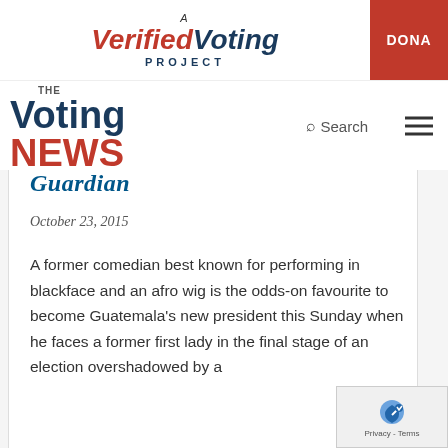[Figure (logo): A Verified Voting Project logo with red and dark blue text, with a red DONA(TE) button on the right]
[Figure (logo): The Voting News logo with dark blue 'Voting' and red 'NEWS' text, with a search icon and hamburger menu]
[Figure (logo): Guardian logo in blue italic serif]
October 23, 2015
A former comedian best known for performing in blackface and an afro wig is the odds-on favourite to become Guatemala's new president this Sunday when he faces a former first lady in the final stage of an election overshadowed by a